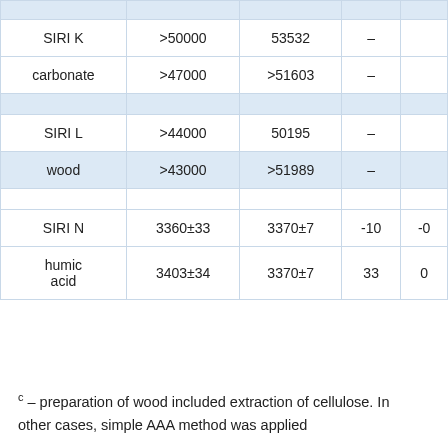| Sample | Measured age (BP) | Known age (BP) | Difference (yr) |  |
| --- | --- | --- | --- | --- |
| SIRI K | >50000 | 53532 | – |  |
| carbonate | >47000 | >51603 | – |  |
| SIRI L | >44000 | 50195 | – |  |
| wood | >43000 | >51989 | – |  |
| SIRI N | 3360±33 | 3370±7 | -10 | -0 |
| humic acid | 3403±34 | 3370±7 | 33 | 0 |
c – preparation of wood included extraction of cellulose. In other cases, simple AAA method was applied